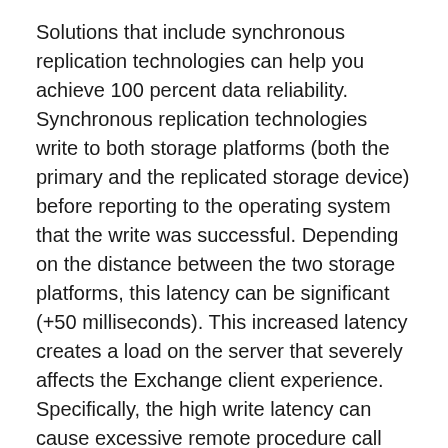Solutions that include synchronous replication technologies can help you achieve 100 percent data reliability. Synchronous replication technologies write to both storage platforms (both the primary and the replicated storage device) before reporting to the operating system that the write was successful. Depending on the distance between the two storage platforms, this latency can be significant (+50 milliseconds). This increased latency creates a load on the server that severely affects the Exchange client experience. Specifically, the high write latency can cause excessive remote procedure call (RPC) queues and can potentially exhaust all 100 RPC threads (threads waiting on write I/O), thereby causing severe usability problems.
To minimize the negative effect on usability, you can reduce the number of users on both the server and the SAN. For example, consider an Exchange deployment that includes synchronous replication, where the user load is limited to